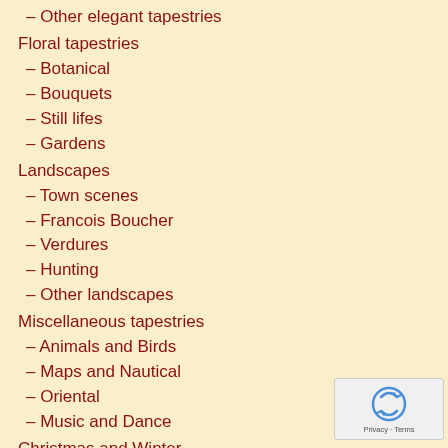– Other elegant tapestries
Floral tapestries
– Botanical
– Bouquets
– Still lifes
– Gardens
Landscapes
– Town scenes
– Francois Boucher
– Verdures
– Hunting
– Other landscapes
Miscellaneous tapestries
– Animals and Birds
– Maps and Nautical
– Oriental
– Music and Dance
Christmas and Winter
Matching pairs
Large tapestries